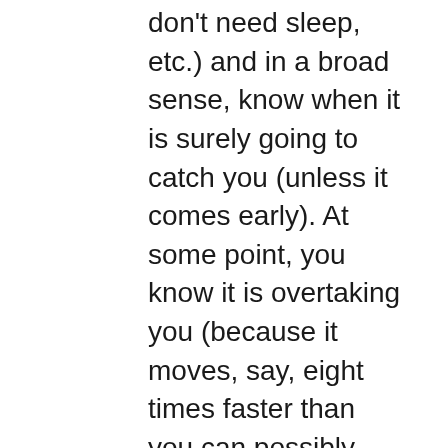don't need sleep, etc.) and in a broad sense, know when it is surely going to catch you (unless it comes early). At some point, you know it is overtaking you (because it moves, say, eight times faster than you can possibly run) and likely to get you within, perhaps, twenty years. At that point you discover a bicycle and double your speed. Now the wave is only moving at four times your speed. It will still get you, but probably not, on average, for about forty years. Twenty years later, without the bike, you would likely have already been dead or dying, but now you still have twenty years left. At this point, you discover a solar-powered car that can